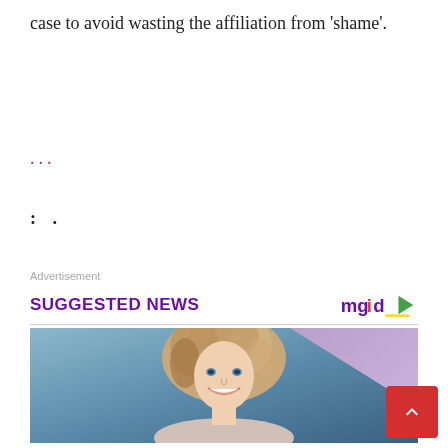case to avoid wasting the affiliation from ‘shame’.
…
: .
Advertisement
SUGGESTED NEWS
[Figure (photo): Portrait photo of a smiling woman with curly blonde-brown voluminous hair and blue eyes, against a blue-grey background with a diagonal lavender stripe.]